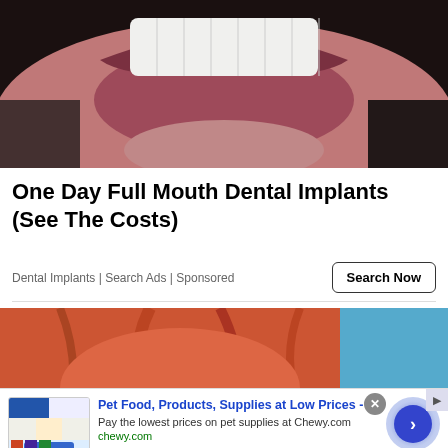[Figure (photo): Close-up photo of a person smiling showing white teeth, dark background]
One Day Full Mouth Dental Implants (See The Costs)
Dental Implants | Search Ads | Sponsored
[Figure (photo): Person in orange/red shirt against blue background with green plant]
[Figure (screenshot): Chewy.com advertisement banner: Pet Food, Products, Supplies at Low Prices - Pay the lowest prices on pet supplies at Chewy.com, with product images and navigation arrow]